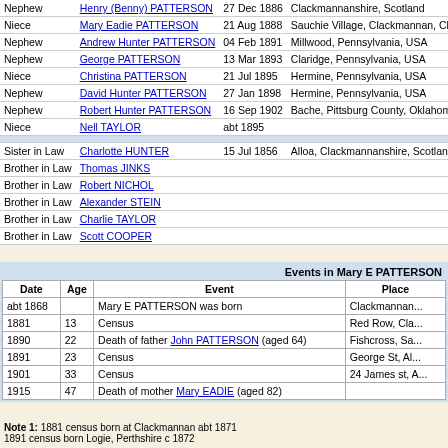| Relationship | Name | Date | Place |
| --- | --- | --- | --- |
| Nephew | Henry (Benny) PATTERSON | 27 Dec 1886 | Clackmannanshire, Scotland |
| Niece | Mary Eadie PATTERSON | 21 Aug 1888 | Sauchie Village, Clackmannan, Clackmannanshire |
| Nephew | Andrew Hunter PATTERSON | 04 Feb 1891 | Millwood, Pennsylvania, USA |
| Nephew | George PATTERSON | 13 Mar 1893 | Claridge, Pennsylvania, USA |
| Niece | Christina PATTERSON | 21 Jul 1895 | Hermine, Pennsylvania, USA |
| Nephew | David Hunter PATTERSON | 27 Jan 1898 | Hermine, Pennsylvania, USA |
| Nephew | Robert Hunter PATTERSON | 16 Sep 1902 | Bache, Pittsburg County, Oklahoma, USA |
| Niece | Nell TAYLOR | abt 1895 |  |
| ---separator--- |
| Sister in Law | Charlotte HUNTER | 15 Jul 1856 | Alloa, Clackmannanshire, Scotland |
| Brother in Law | Thomas JINKS |  |  |
| Brother in Law | Robert NICHOL |  |  |
| Brother in Law | Alexander STEIN |  |  |
| Brother in Law | Charlie TAYLOR |  |  |
| Brother in Law | Scott COOPER |  |  |
| Date | Age | Event | Place |
| --- | --- | --- | --- |
| abt 1868 |  | Mary E PATTERSON was born | Clackmannan... |
| 1881 | 13 | Census | Red Row, Cla... |
| 1890 | 22 | Death of father John PATTERSON (aged 64) | Fishcross, Sa... |
| 1891 | 23 | Census | George St, Al... |
| 1901 | 33 | Census | 24 James st, A... |
| 1915 | 47 | Death of mother Mary EADIE (aged 82) |  |
Note 1: 1881 census born at Clackmannan abt 1871
1891 census born Logie, Perthshire c 1872